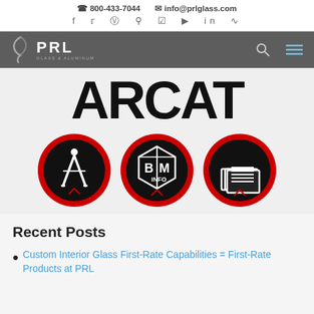800-433-7044  info@prlglass.com
[Figure (logo): PRL Glass & Aluminum logo on dark grey navigation bar with search and menu icons]
[Figure (logo): ARCAT large black bold logo text with three circular icons below: compass/drafting tool icon, BIM INFO cube icon, and document/specs icon, each with red border on black background]
Recent Posts
Custom Interior Glass First-Rate Capabilities = First-Rate Products at PRL